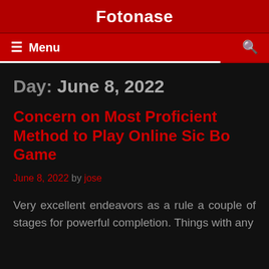Fotonase
≡ Menu
Day: June 8, 2022
Concern on Most Proficient Method to Play Online Sic Bo Game
June 8, 2022 by jose
Very excellent endeavors as a rule a couple of stages for powerful completion. Things with any